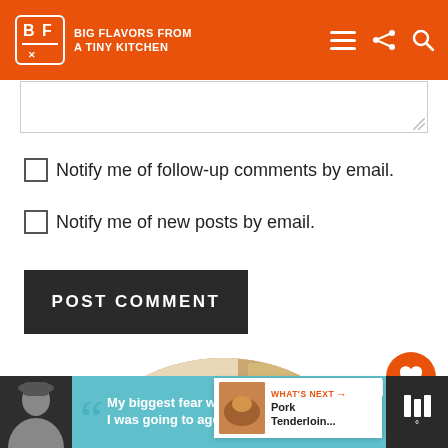Big Flavors From A Tiny Kitchen
Notify me of follow-up comments by email.
Notify me of new posts by email.
POST COMMENT
[Figure (photo): Author portrait photo — woman with dark hair smiling in kitchen]
WHAT'S NEXT → Pork Tenderloin...
[Figure (infographic): Advertisement bar at bottom: Dave Thomas Foundation for Adoption — My biggest fear was that I was going to age out and]